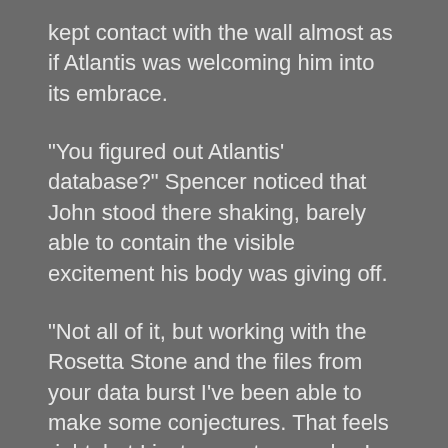kept contact with the wall almost as if Atlantis was welcoming him into its embrace.
“You figured out Atlantis’ database?” Spencer noticed that John stood there shaking, barely able to contain the visible excitement his body was giving off.
“Not all of it, but working with the Rosetta Stone and the files from your data burst I’ve been able to make some conjectures. That feels right, but I just am not sure why. I think Atlantis is trying to both welcome me and nudge me in a certain direction at the same time. I feel this faint hum in the back of my head. Not unpleasant, but just…”
“Almost like you’re home?”